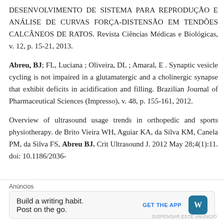DESENVOLVIMENTO DE SISTEMA PARA REPRODUÇÃO E ANÁLISE DE CURVAS FORÇA-DISTENSÃO EM TENDÕES CALCÂNEOS DE RATOS. Revista Ciências Médicas e Biológicas, v. 12, p. 15-21, 2013.
Abreu, BJ; FL, Luciana ; Oliveira, DL ; Amaral, E . Synaptic vesicle cycling is not impaired in a glutamatergic and a cholinergic synapse that exhibit deficits in acidification and filling. Brazilian Journal of Pharmaceutical Sciences (Impresso), v. 48, p. 155-161, 2012.
Overview of ultrasound usage trends in orthopedic and sports physiotherapy. de Brito Vieira WH, Aguiar KA, da Silva KM, Canela PM, da Silva FS, Abreu BJ. Crit Ultrasound J. 2012 May 28;4(1):11. doi: 10.1186/2036-
Anúncios
[Figure (other): Advertisement banner: 'Build a writing habit. Post on the go.' with GET THE APP call-to-action and WordPress logo]